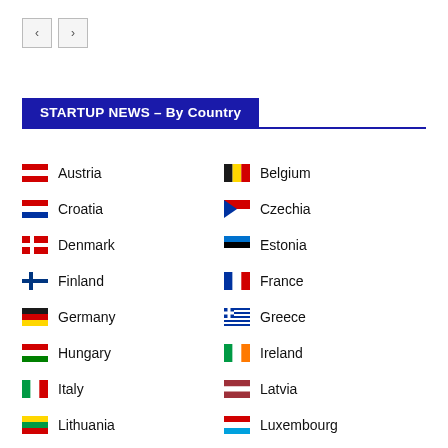STARTUP NEWS – By Country
Austria
Belgium
Croatia
Czechia
Denmark
Estonia
Finland
France
Germany
Greece
Hungary
Ireland
Italy
Latvia
Lithuania
Luxembourg